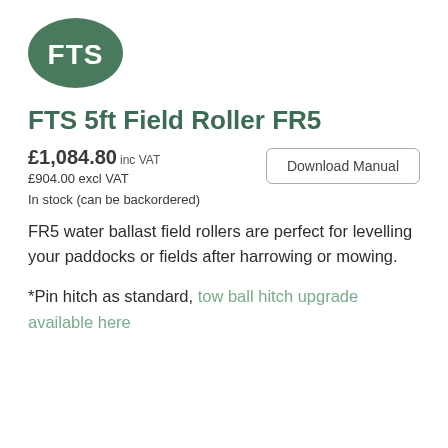[Figure (logo): FTS logo — dark green oval with white bold letters FTS]
FTS 5ft Field Roller FR5
£1,084.80 inc VAT
£904.00 excl VAT
Download Manual
In stock (can be backordered)
FR5 water ballast field rollers are perfect for levelling your paddocks or fields after harrowing or mowing.
*Pin hitch as standard, tow ball hitch upgrade available here